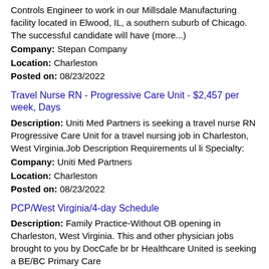Controls Engineer to work in our Millsdale Manufacturing facility located in Elwood, IL, a southern suburb of Chicago. The successful candidate will have (more...)
Company: Stepan Company
Location: Charleston
Posted on: 08/23/2022
Travel Nurse RN - Progressive Care Unit - $2,457 per week, Days
Description: Uniti Med Partners is seeking a travel nurse RN Progressive Care Unit for a travel nursing job in Charleston, West Virginia.Job Description Requirements ul li Specialty:
Company: Uniti Med Partners
Location: Charleston
Posted on: 08/23/2022
PCP/West Virginia/4-day Schedule
Description: Family Practice-Without OB opening in Charleston, West Virginia. This and other physician jobs brought to you by DocCafe br br Healthcare United is seeking a BE/BC Primary Care
Company: Healthcare United
Location: Charleston
Posted on: 08/23/2022